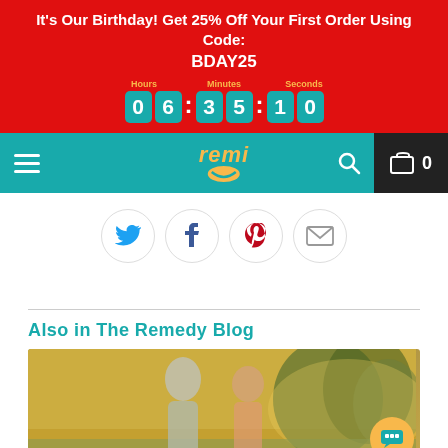It's Our Birthday! Get 25% Off Your First Order Using Code: BDAY25 — Countdown: 06:35:10
[Figure (screenshot): Teal navigation bar with hamburger menu, 'remi' logo in yellow italic with smile icon, search icon, and cart with 0 items on dark background]
[Figure (infographic): Social sharing icons row: Twitter (blue bird), Facebook (f), Pinterest (P), Email (envelope) — each in a circular bordered button]
Also in The Remedy Blog
[Figure (photo): Outdoor photo of a smiling couple (man and woman) standing together in a park with trees in background, warm golden light]